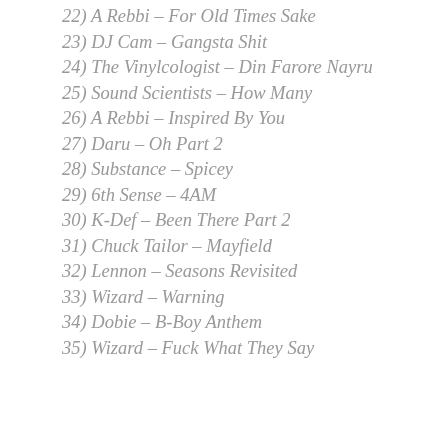22) A Rebbi – For Old Times Sake
23) DJ Cam – Gangsta Shit
24) The Vinylcologist – Din Farore Nayru
25) Sound Scientists – How Many
26) A Rebbi – Inspired By You
27) Daru – Oh Part 2
28) Substance – Spicey
29) 6th Sense – 4AM
30) K-Def – Been There Part 2
31) Chuck Tailor – Mayfield
32) Lennon – Seasons Revisited
33) Wizard – Warning
34) Dobie – B-Boy Anthem
35) Wizard – Fuck What They Say